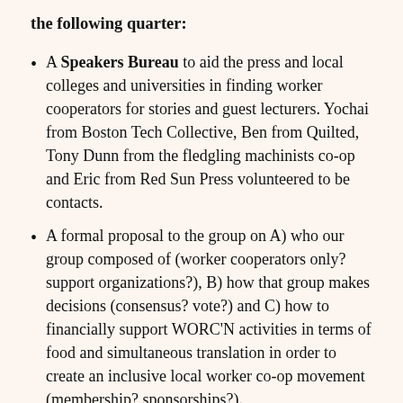the following quarter:
A Speakers Bureau to aid the press and local colleges and universities in finding worker cooperators for stories and guest lecturers. Yochai from Boston Tech Collective, Ben from Quilted, Tony Dunn from the fledgling machinists co-op and Eric from Red Sun Press volunteered to be contacts.
A formal proposal to the group on A) who our group composed of (worker cooperators only? support organizations?), B) how that group makes decisions (consensus? vote?) and C) how to financially support WORC'N activities in terms of food and simultaneous translation in order to create an inclusive local worker co-op movement (membership? sponsorships?).
We concluded the General Assembly with a